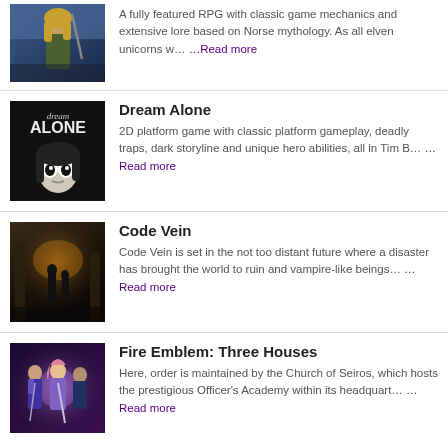[Figure (illustration): RPG game cover art showing a female warrior character with blonde hair in armored outfit against a fantasy background]
A fully featured RPG with classic game mechanics and extensive lore based on Norse mythology. As all elven unicorns w… …Read more
[Figure (illustration): Dream Alone game cover art with black and white Tim Burton style imagery showing a dark character with large eyes]
Dream Alone
2D platform game with classic platform gameplay, deadly traps, dark storyline and unique hero abilities, all in Tim B… …Read more
[Figure (illustration): Code Vein game cover art showing dark atmospheric scene with silhouetted figures in a ruined environment]
Code Vein
Code Vein is set in the not too distant future where a disaster has brought the world to ruin and vampire-like beings… …Read more
[Figure (illustration): Fire Emblem: Three Houses game cover art showing anime-style characters with swords and magical effects]
Fire Emblem: Three Houses
Here, order is maintained by the Church of Seiros, which hosts the prestigious Officer's Academy within its headquart… …Read more